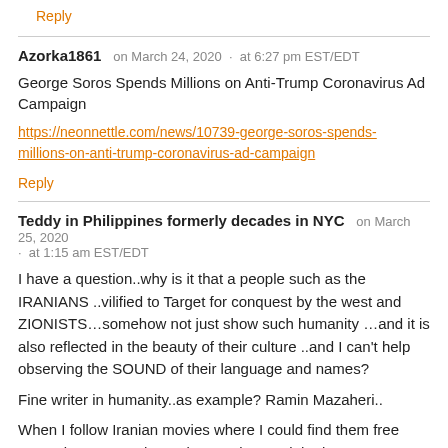Reply
Azorka1861   on March 24, 2020  ·  at 6:27 pm EST/EDT
George Soros Spends Millions on Anti-Trump Coronavirus Ad Campaign
https://neonnettle.com/news/10739-george-soros-spends-millions-on-anti-trump-coronavirus-ad-campaign
Reply
Teddy in Philippines formerly decades in NYC   on March 25, 2020  ·  at 1:15 am EST/EDT
I have a question..why is it that a people such as the IRANIANS ..vilified to Target for conquest by the west and ZIONISTS…somehow not just show such humanity …and it is also reflected in the beauty of their culture ..and I can't help observing the SOUND of their language and names?
Fine writer in humanity..as example? Ramin Mazaheri..
When I follow Iranian movies where I could find them free streaming.. even when I don't understand the language...